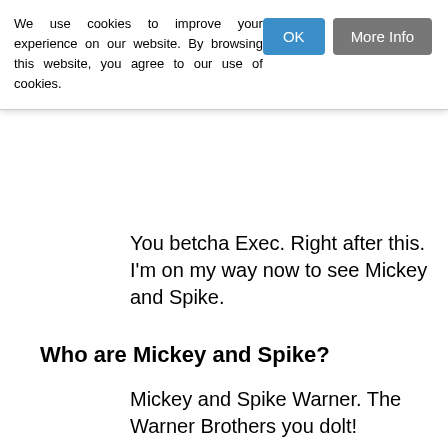We use cookies to improve your experience on our website. By browsing this website, you agree to our use of cookies.
OK
More Info
You betcha Exec. Right after this. I'm on my way now to see Mickey and Spike.
Who are Mickey and Spike?
Mickey and Spike Warner. The Warner Brothers you dolt!
Right. Yeah. Mickey and er…